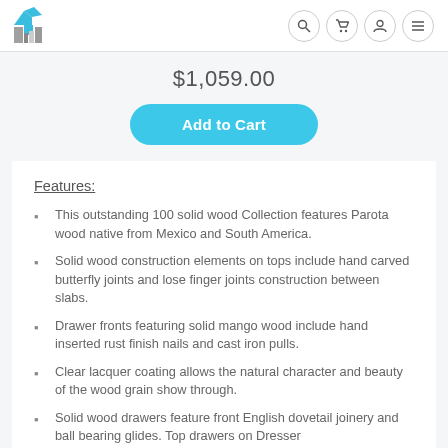[Logo] [Search] [Cart] [Account] [Menu]
$1,059.00
Add to Cart
Features:
This outstanding 100 solid wood Collection features Parota wood native from Mexico and South America.
Solid wood construction elements on tops include hand carved butterfly joints and lose finger joints construction between slabs.
Drawer fronts featuring solid mango wood include hand inserted rust finish nails and cast iron pulls.
Clear lacquer coating allows the natural character and beauty of the wood grain show through.
Solid wood drawers feature front English dovetail joinery and ball bearing glides. Top drawers on Dresser